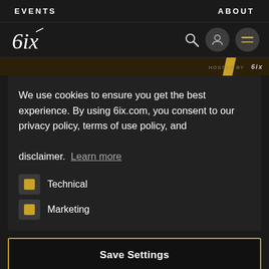EVENTS    ABOUT
[Figure (logo): 6ix script logo with search icon, avatar icon, and hamburger menu icon]
[Figure (photo): Hero image slice with golden/dark background and yellow diagonal bar with hosted by text]
We use cookies to ensure you get the best experience. By using 6ix.com, you consent to our privacy policy, terms of use policy, and disclaimer. Learn more
Technical
Marketing
Save Settings